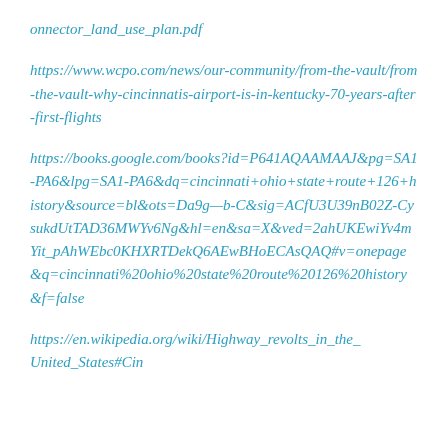onnector_land_use_plan.pdf
https://www.wcpo.com/news/our-community/from-the-vault/from-the-vault-why-cincinnatis-airport-is-in-kentucky-70-years-after-first-flights
https://books.google.com/books?id=P641AQAAMAAJ&pg=SA1-PA6&lpg=SA1-PA6&dq=cincinnati+ohio+state+route+126+history&source=bl&ots=Da9g—b-C&sig=ACfU3U39nB02Z-CysukdUtTAD36MWYv6Ng&hl=en&sa=X&ved=2ahUKEwiYv4mYit_pAhWEbc0KHXRTDekQ6AEwBHoECAsQAQ#v=onepage&q=cincinnati%20ohio%20state%20route%20126%20history&f=false
https://en.wikipedia.org/wiki/Highway_revolts_in_the_United_States#Cincinnati